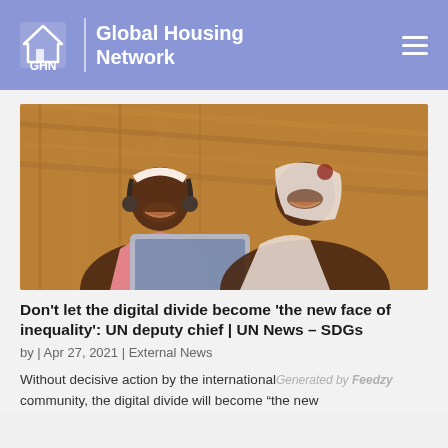GHN | Global Housing Network
[Figure (photo): Two young African girls smiling while looking at a tablet device together, wearing headscarves, sitting in a rustic setting with straw/thatched walls in the background. One girl wears headphones.]
Don't let the digital divide become 'the new face of inequality': UN deputy chief | UN News – SDGs
by | Apr 27, 2021 | External News
Without decisive action by the international community, the digital divide will become "the new